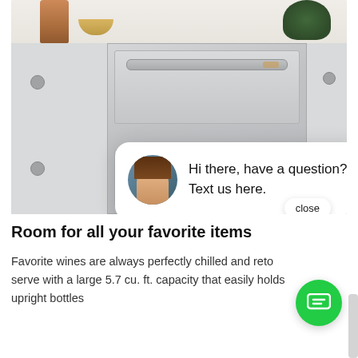[Figure (photo): Kitchen scene with stainless steel double-drawer refrigerator or wine cooler built into white cabinetry, with copper vase, gold bowl, and plant on marble countertop. A chat widget overlay shows a woman's avatar with text 'Hi there, have a question? Text us here.' and a close button, plus a green chat button.]
Room for all your favorite items
Favorite wines are always perfectly chilled and ready to serve with a large 5.7 cu. ft. capacity that easily holds upright bottles